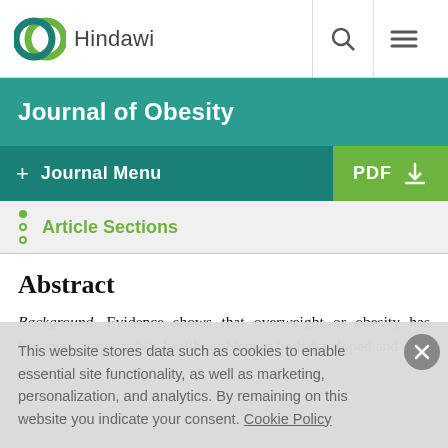[Figure (logo): Hindawi logo with two overlapping circles in teal and green, followed by text 'Hindawi']
Journal of Obesity
+ Journal Menu
PDF (download icon)
Article Sections
Abstract
Background. Evidence shows that overweight or obesity has become a major public health problem in both developed and
This website stores data such as cookies to enable essential site functionality, as well as marketing, personalization, and analytics. By remaining on this website you indicate your consent. Cookie Policy